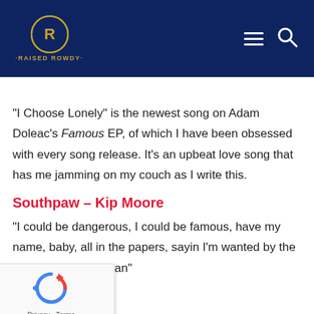Raised Rowdy
“I Choose Lonely” is the newest song on Adam Doleac’s Famous EP, of which I have been obsessed with every song release. It’s an upbeat love song that has me jamming on my couch as I write this.
Southpaw – Kip Moore
“I could be dangerous, I could be famous, have my name, baby, all in the papers, sayin I’m wanted by the law and every woman”
[Figure (other): reCAPTCHA widget with Privacy and Terms links]
thought that went through my mind when I played this song was “Oh, hell yeah”, especially when the first line is